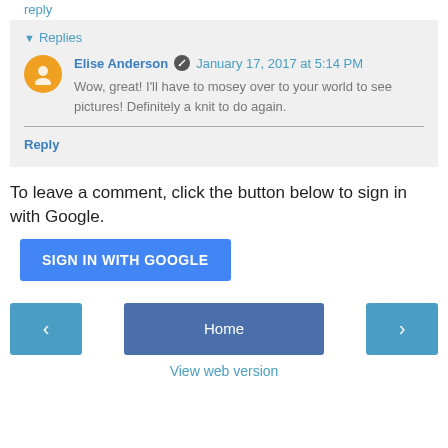▼ Replies
Elise Anderson  January 17, 2017 at 5:14 PM
Wow, great! I'll have to mosey over to your world to see pictures! Definitely a knit to do again.
Reply
To leave a comment, click the button below to sign in with Google.
SIGN IN WITH GOOGLE
Home
View web version